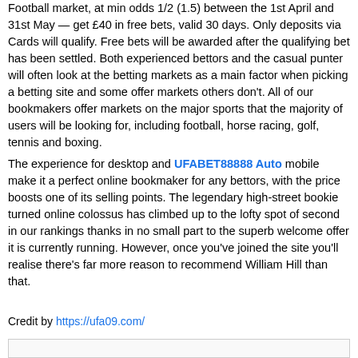Football market, at min odds 1/2 (1.5) between the 1st April and 31st May — get £40 in free bets, valid 30 days. Only deposits via Cards will qualify. Free bets will be awarded after the qualifying bet has been settled. Both experienced bettors and the casual punter will often look at the betting markets as a main factor when picking a betting site and some offer markets others don't. All of our bookmakers offer markets on the major sports that the majority of users will be looking for, including football, horse racing, golf, tennis and boxing.
The experience for desktop and UFABET88888 Auto mobile make it a perfect online bookmaker for any bettors, with the price boosts one of its selling points. The legendary high-street bookie turned online colossus has climbed up to the lofty spot of second in our rankings thanks in no small part to the superb welcome offer it is currently running. However, once you've joined the site you'll realise there's far more reason to recommend William Hill than that.
Credit by https://ufa09.com/